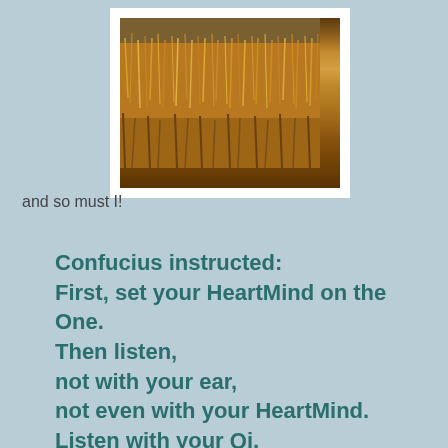[Figure (photo): A photograph of golden-brown dried grass or grassland vegetation, framed with a white border, positioned at the top center of the page.]
and so must I!
Confucius instructed:
First, set your HeartMind on the One.
Then listen,
not with your ear,
not even with your HeartMind.
Listen with your Qi,
the very essence of your ultimate self.
The ear can only hear.
The HeartMind is typically